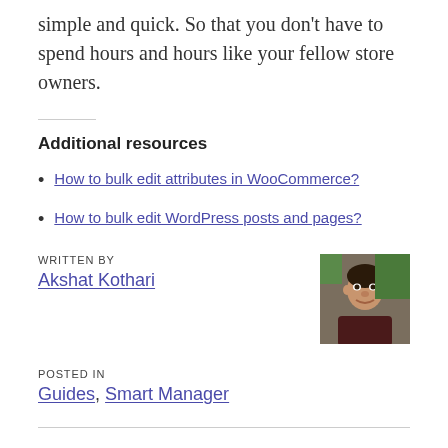simple and quick. So that you don't have to spend hours and hours like your fellow store owners.
Additional resources
How to bulk edit attributes in WooCommerce?
How to bulk edit WordPress posts and pages?
WRITTEN BY
Akshat Kothari
[Figure (photo): Author headshot photo of Akshat Kothari]
POSTED IN
Guides, Smart Manager